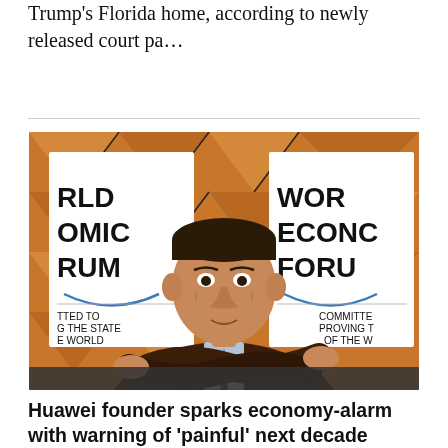Trump's Florida home, according to newly released court pa…
[Figure (photo): Man identified as Huawei founder at World Economic Forum, gesturing with crossed arms in front of World Economic Forum backdrop banners, wearing a dark suit with tie]
Huawei founder sparks economy-alarm with warning of 'painful' next decade